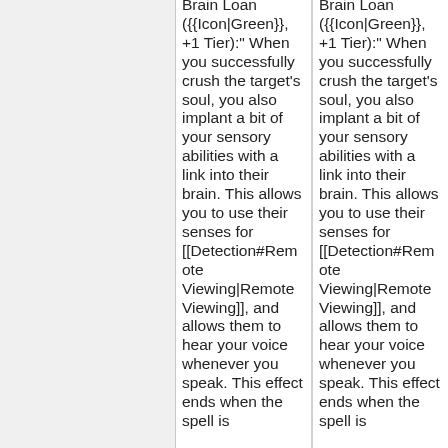Brain Loan ({{Icon|Green}}, +1 Tier):" When you successfully crush the target's soul, you also implant a bit of your sensory abilities with a link into their brain. This allows you to use their senses for [[Detection#Remote Viewing|Remote Viewing]], and allows them to hear your voice whenever you speak. This effect ends when the spell is
Brain Loan ({{Icon|Green}}, +1 Tier):" When you successfully crush the target's soul, you also implant a bit of your sensory abilities with a link into their brain. This allows you to use their senses for [[Detection#Remote Viewing|Remote Viewing]], and allows them to hear your voice whenever you speak. This effect ends when the spell is